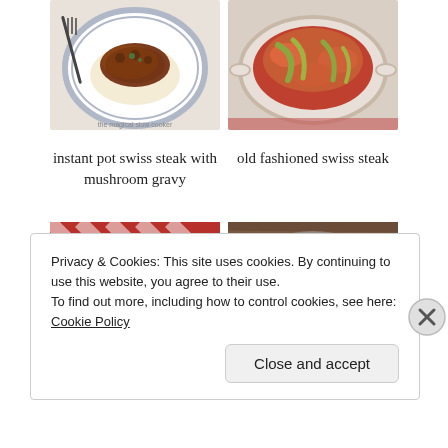[Figure (photo): Two food photos side by side: left shows instant pot swiss steak with mushroom gravy on a white plate with blue rim and a fork; right shows old fashioned swiss steak in a white casserole dish with tomatoes and peppers]
instant pot swiss steak with mushroom gravy
old fashioned swiss steak
[Figure (photo): Partial view of two more food photos at the bottom of the page, partially obscured by cookie banner]
Privacy & Cookies: This site uses cookies. By continuing to use this website, you agree to their use.
To find out more, including how to control cookies, see here:
Cookie Policy